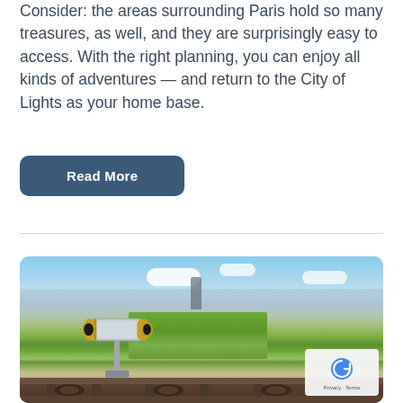Consider: the areas surrounding Paris hold so many treasures, as well, and they are surprisingly easy to access. With the right planning, you can enjoy all kinds of adventures — and return to the City of Lights as your home base.
Read More
[Figure (photo): Aerial view of Paris from the Eiffel Tower with a coin-operated binocular telescope in the foreground, showing the Champ de Mars park and city skyline including the Montparnasse Tower in the background under a partly cloudy sky.]